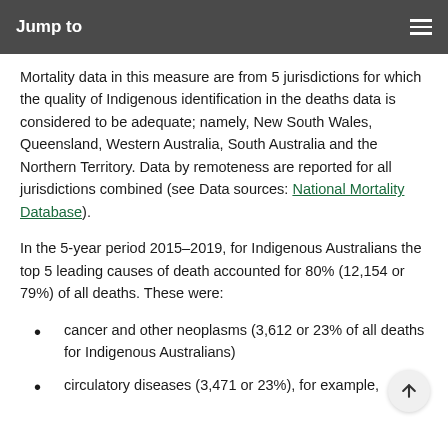Jump to
Mortality data in this measure are from 5 jurisdictions for which the quality of Indigenous identification in the deaths data is considered to be adequate; namely, New South Wales, Queensland, Western Australia, South Australia and the Northern Territory. Data by remoteness are reported for all jurisdictions combined (see Data sources: National Mortality Database).
In the 5-year period 2015–2019, for Indigenous Australians the top 5 leading causes of death accounted for 80% (12,154 or 79%) of all deaths. These were:
cancer and other neoplasms (3,612 or 23% of all deaths for Indigenous Australians)
circulatory diseases (3,471 or 23%), for example,